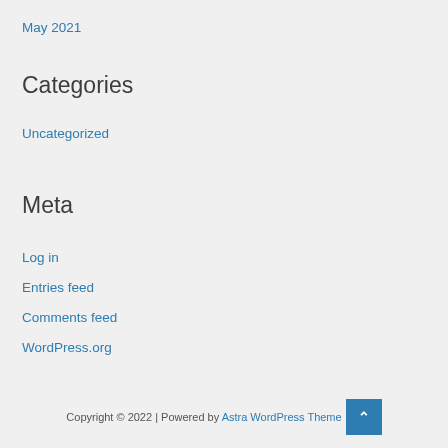May 2021
Categories
Uncategorized
Meta
Log in
Entries feed
Comments feed
WordPress.org
Copyright © 2022 | Powered by Astra WordPress Theme